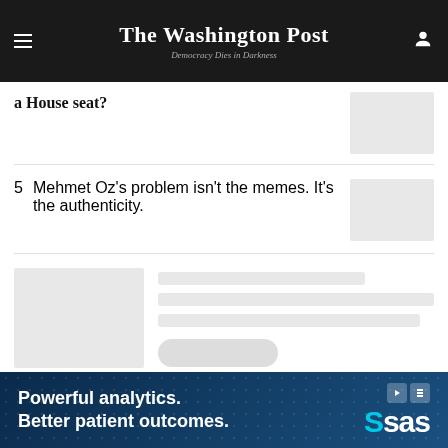The Washington Post — Democracy Dies in Darkness
a House seat?
5 Mehmet Oz's problem isn't the memes. It's the authenticity.
[Figure (other): Loading skeleton card with image placeholder and text lines]
[Figure (other): Advertisement: Powerful analytics. Better patient outcomes. SAS logo]